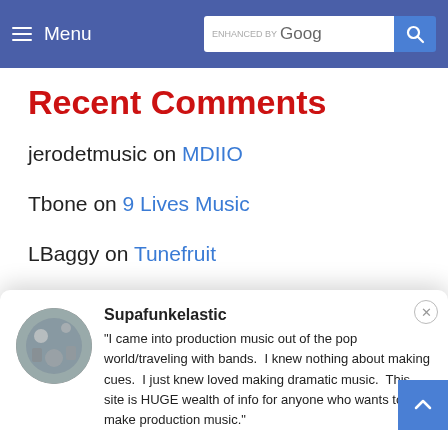Menu | ENHANCED BY Google [search button]
Recent Comments
jerodetmusic on MDIIO
Tbone on 9 Lives Music
LBaggy on Tunefruit
michal on Tunefruit
Redster on MusicSupervisor
Supafunkelastic
"I came into production music out of the pop world/traveling with bands.  I knew nothing about making cues.  I just knew loved making dramatic music.  This site is HUGE wealth of info for anyone who wants to make production music."